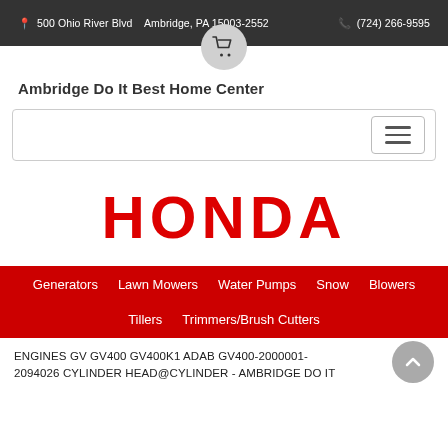500 Ohio River Blvd   Ambridge, PA 15003-2552      (724) 266-9595
Ambridge Do It Best Home Center
[Figure (screenshot): Navigation bar with hamburger menu icon on the right]
[Figure (logo): Honda logo in bold red letters]
Generators   Lawn Mowers   Water Pumps   Snow Blowers   Tillers   Trimmers/Brush Cutters
ENGINES GV GV400 GV400K1 ADAB GV400-2000001-2094026 CYLINDER HEAD@CYLINDER - AMBRIDGE DO IT